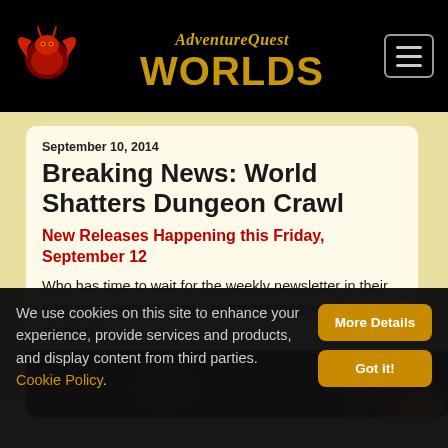AdventureQuest Worlds
September 10, 2014
Breaking News: World Shatters Dungeon Crawl
New Releases Happening this Friday, September 12
Who has time to wait for the weekly newsletter in their inboxes anymore? I say... to the victor goes the spoilers!
[Figure (screenshot): Game screenshot showing a dark dungeon scene with a character or creature with teal/green wings/fins, possibly a boss or enemy, in a dark purple and orange-lit dungeon environment]
We use cookies on this site to enhance your experience, provide services and products, and display content from third parties. Cookie Policy.